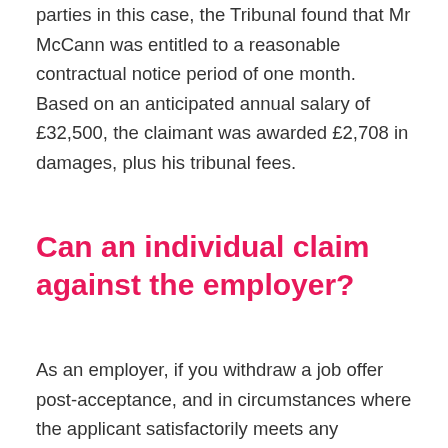parties in this case, the Tribunal found that Mr McCann was entitled to a reasonable contractual notice period of one month. Based on an anticipated annual salary of £32,500, the claimant was awarded £2,708 in damages, plus his tribunal fees.
Can an individual claim against the employer?
As an employer, if you withdraw a job offer post-acceptance, and in circumstances where the applicant satisfactorily meets any